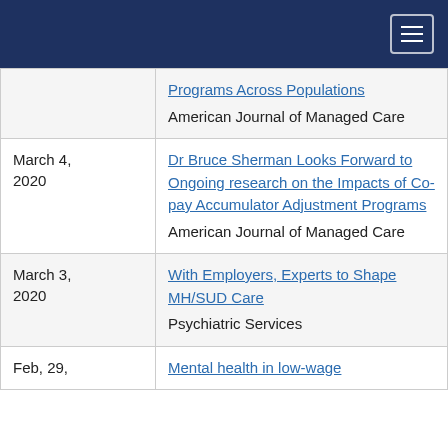Navigation bar
| Date | Title / Publication |
| --- | --- |
|  | Programs Across Populations
American Journal of Managed Care |
| March 4, 2020 | Dr Bruce Sherman Looks Forward to Ongoing research on the Impacts of Co-pay Accumulator Adjustment Programs
American Journal of Managed Care |
| March 3, 2020 | With Employers, Experts to Shape MH/SUD Care
Psychiatric Services |
| Feb, 29, | Mental health in low-wage |